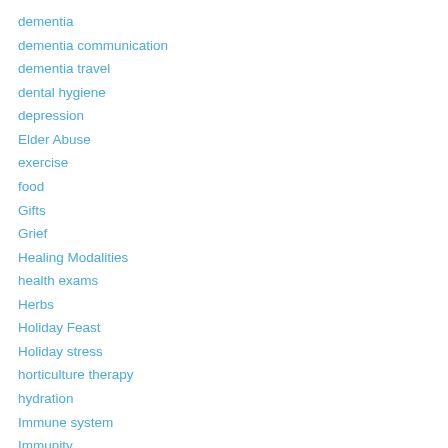dementia
dementia communication
dementia travel
dental hygiene
depression
Elder Abuse
exercise
food
Gifts
Grief
Healing Modalities
health exams
Herbs
Holiday Feast
Holiday stress
horticulture therapy
hydration
Immune system
Immunity
inflammation